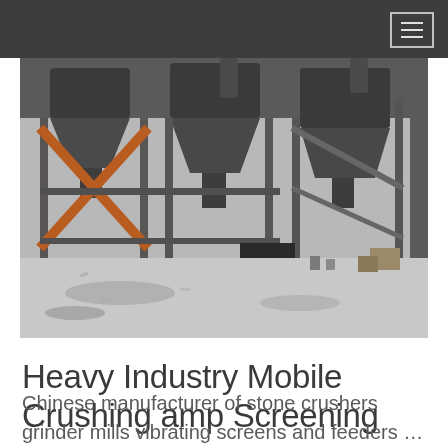[Figure (photo): Industrial heavy machinery facility interior showing large hopper/cyclone structures on metal frames and scaffolding, with concrete floor and various equipment, photographed in a warehouse-like industrial building.]
Heavy Industry Mobile Crushing amp Screening
Chinese manufacturer of stone crushers grinder mills vibrating screens and feeders …